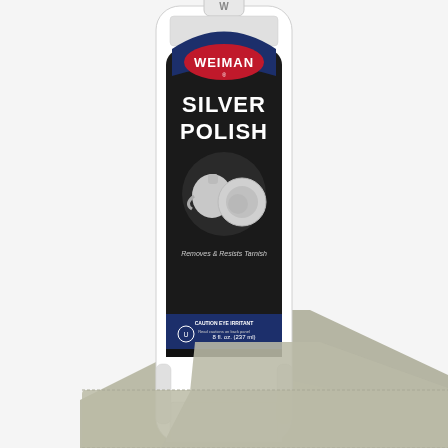[Figure (photo): Weiman Silver Polish bottle (white plastic squeeze bottle) with a dark navy and black label reading 'WEIMAN SILVER POLISH' with imagery of a silver teapot, creamer, and plate. Label also reads 'Removes & Resists Tarnish', 'CAUTION EYE IRRITANT', '8 fl oz (237 ml)'. A gray microfiber polishing cloth is visible behind and below the bottle, extending diagonally to the right. The background is white/light gray.]